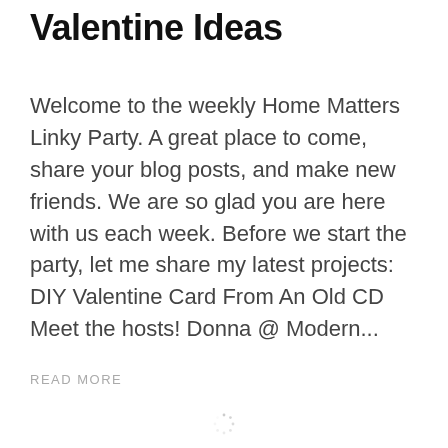Valentine Ideas
Welcome to the weekly Home Matters Linky Party. A great place to come, share your blog posts, and make new friends. We are so glad you are here with us each week. Before we start the party, let me share my latest projects: DIY Valentine Card From An Old CD Meet the hosts! Donna @ Modern...
READ MORE
[Figure (illustration): Loading spinner / circular progress indicator at the bottom center of the page]